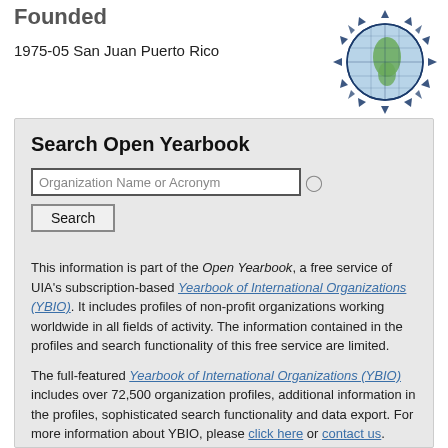Founded
1975-05 San Juan Puerto Rico
[Figure (logo): Globe with grid lines and decorative spiky border, UIA logo]
Search Open Yearbook
Organization Name or Acronym (search input field with search button)
This information is part of the Open Yearbook, a free service of UIA's subscription-based Yearbook of International Organizations (YBIO). It includes profiles of non-profit organizations working worldwide in all fields of activity. The information contained in the profiles and search functionality of this free service are limited.
The full-featured Yearbook of International Organizations (YBIO) includes over 72,500 organization profiles, additional information in the profiles, sophisticated search functionality and data export. For more information about YBIO, please click here or contact us.